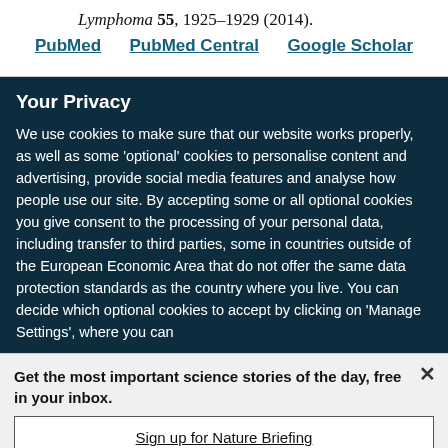Lymphoma 55, 1925–1929 (2014).
PubMed   PubMed Central   Google Scholar
Your Privacy
We use cookies to make sure that our website works properly, as well as some 'optional' cookies to personalise content and advertising, provide social media features and analyse how people use our site. By accepting some or all optional cookies you give consent to the processing of your personal data, including transfer to third parties, some in countries outside of the European Economic Area that do not offer the same data protection standards as the country where you live. You can decide which optional cookies to accept by clicking on 'Manage Settings', where you can
Get the most important science stories of the day, free in your inbox.
Sign up for Nature Briefing